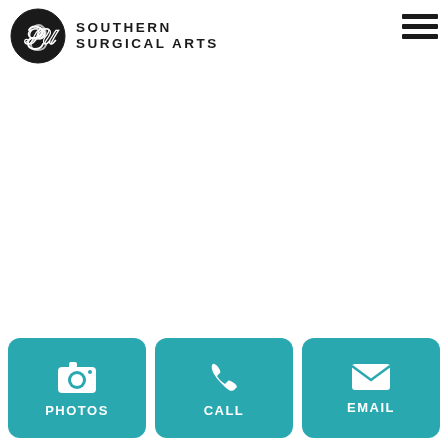[Figure (logo): Southern Surgical Arts logo — circular emblem with stylized 'S' letters in white on dark background, with brand name SOUTHERN SURGICAL ARTS to the right]
[Figure (screenshot): Three teal action buttons at the bottom: PHOTOS (camera icon), CALL (phone icon), EMAIL (envelope icon)]